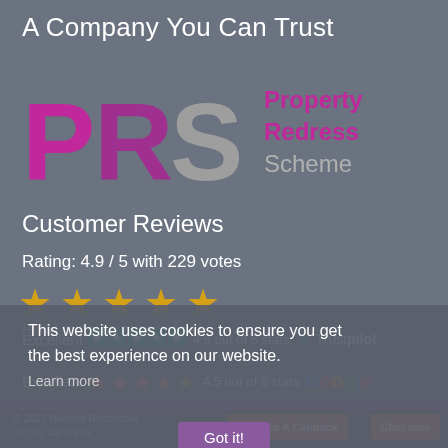A Company You Can Trust
[Figure (logo): PRS Property Redress Scheme logo with large purple PRS letters and grey S, with 'Property Redress Scheme' text in pink/grey on the right]
Customer Reviews
Rating: 4.9 / 5 with 229 votes
[Figure (infographic): Five yellow star rating icons]
Read our customer reviews
This website uses cookies to ensure you get the best experience on our website.
Learn more
Excellent ★★★★★ 4.6 out of 5 stars ✦ Trustpilot
Excellent ★★★★★ 4.5 out of 5 stars Google
Got it!
© 2022 National Residential ... VAT no. GB 279 73...
Arrange A Callback
Chat now